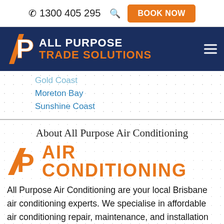📞 1300 405 295   🔍   BOOK NOW
[Figure (logo): All Purpose Trade Solutions logo with AP monogram on dark navy background]
Gold Coast
Moreton Bay
Sunshine Coast
About All Purpose Air Conditioning
[Figure (logo): AP Air Conditioning orange logo with large AP monogram and text AIR CONDITIONING]
All Purpose Air Conditioning are your local Brisbane air conditioning experts. We specialise in affordable air conditioning repair, maintenance, and installation right across Brisbane and surrounds.